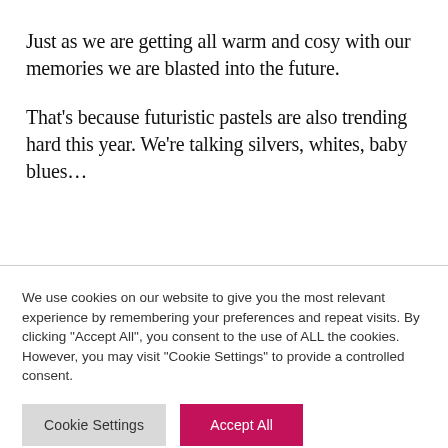Just as we are getting all warm and cosy with our memories we are blasted into the future.
That's because futuristic pastels are also trending hard this year. We're talking silvers, whites, baby blues…
We use cookies on our website to give you the most relevant experience by remembering your preferences and repeat visits. By clicking "Accept All", you consent to the use of ALL the cookies. However, you may visit "Cookie Settings" to provide a controlled consent.